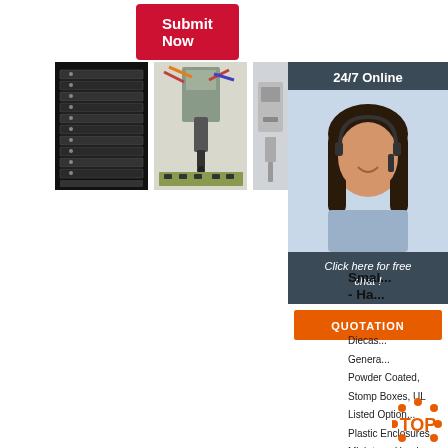[Figure (other): Red Submit Now button]
[Figure (photo): Stack of black electronics enclosures]
[Figure (photo): Industrial soldering/dispensing machine]
[Figure (photo): Industrial machine equipment]
[Figure (photo): Woman wearing headset - 24/7 online customer service agent with dark panel overlay, chat button, and QUOTATION button]
TAKACHI - Manufacturer of electronics enclosures and ...
TAKACHI is a leading manufacturer of electronics enclosures and industrial enclosures
Quality ip66 polycarbonate enclosure Certified Products ...
SZOMK Promotions Plastic Box Junction Abs Ip66 Waterproof Hard Case For Guns
Smal - Ha...
Diecas... Genera... Powder Coated, Stomp Boxes, UL Listed Option... Plastic Enclosures. Miniature, Hand-